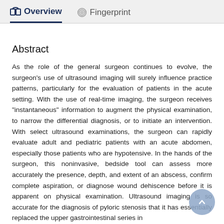Overview  Fingerprint
Abstract
As the role of the general surgeon continues to evolve, the surgeon's use of ultrasound imaging will surely influence practice patterns, particularly for the evaluation of patients in the acute setting. With the use of real-time imaging, the surgeon receives "instantaneous" information to augment the physical examination, to narrow the differential diagnosis, or to initiate an intervention. With select ultrasound examinations, the surgeon can rapidly evaluate adult and pediatric patients with an acute abdomen, especially those patients who are hypotensive. In the hands of the surgeon, this noninvasive, bedside tool can assess more accurately the presence, depth, and extent of an abscess, confirm complete aspiration, or diagnose wound dehiscence before it is apparent on physical examination. Ultrasound imaging is so accurate for the diagnosis of pyloric stenosis that it has essentially replaced the upper gastrointestinal series in